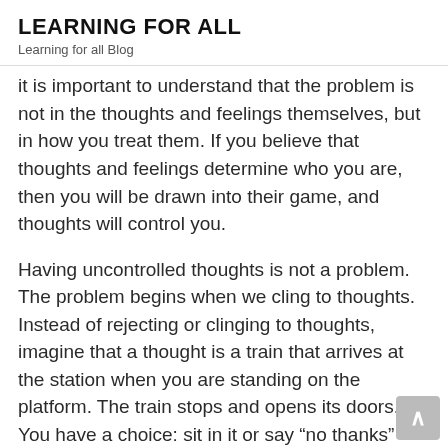LEARNING FOR ALL
Learning for all Blog
it is important to understand that the problem is not in the thoughts and feelings themselves, but in how you treat them. If you believe that thoughts and feelings determine who you are, then you will be drawn into their game, and thoughts will control you.
Having uncontrolled thoughts is not a problem. The problem begins when we cling to thoughts. Instead of rejecting or clinging to thoughts, imagine that a thought is a train that arrives at the station when you are standing on the platform. The train stops and opens its doors. You have a choice: sit in it or say “no thanks” and just stay on the platform, watching the departing train. The same thing happens with thoughts: you can hang on to a thought, give it